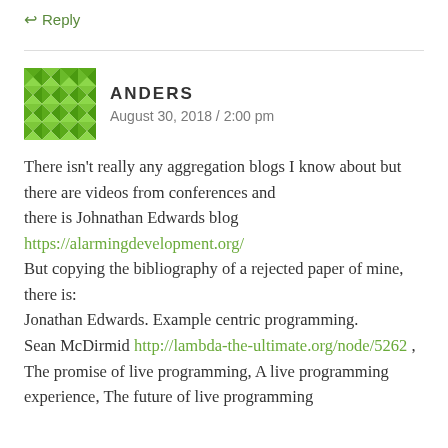↩ Reply
[Figure (illustration): Green geometric mosaic/quilt pattern avatar for user Anders]
ANDERS
August 30, 2018 / 2:00 pm
There isn't really any aggregation blogs I know about but there are videos from conferences and there is Johnathan Edwards blog https://alarmingdevelopment.org/ But copying the bibliography of a rejected paper of mine, there is: Jonathan Edwards. Example centric programming. Sean McDirmid http://lambda-the-ultimate.org/node/5262 , The promise of live programming, A live programming experience, The future of live programming